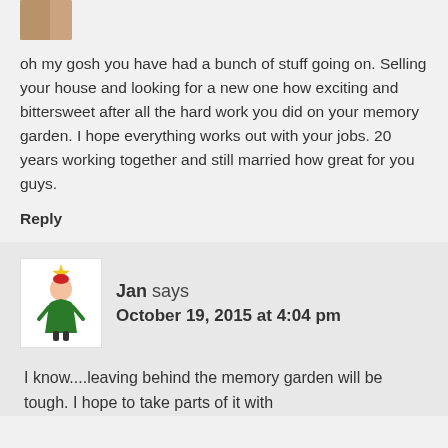[Figure (photo): Partial avatar image at top, cropped]
oh my gosh you have had a bunch of stuff going on. Selling your house and looking for a new one how exciting and bittersweet after all the hard work you did on your memory garden. I hope everything works out with your jobs. 20 years working together and still married how great for you guys.
Reply
[Figure (illustration): Small elf/character illustration used as avatar for Jan]
Jan says
October 19, 2015 at 4:04 pm
I know....leaving behind the memory garden will be tough. I hope to take parts of it with